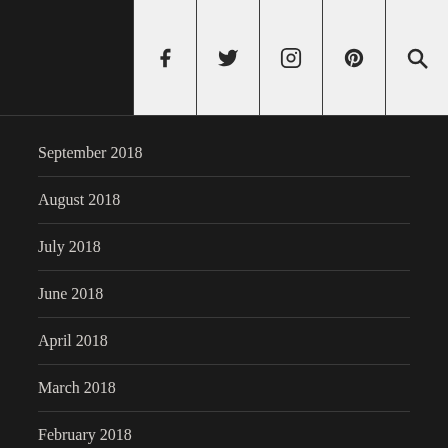Social icons: Facebook, Twitter, Instagram, Pinterest, Search
September 2018
August 2018
July 2018
June 2018
April 2018
March 2018
February 2018
January 2018